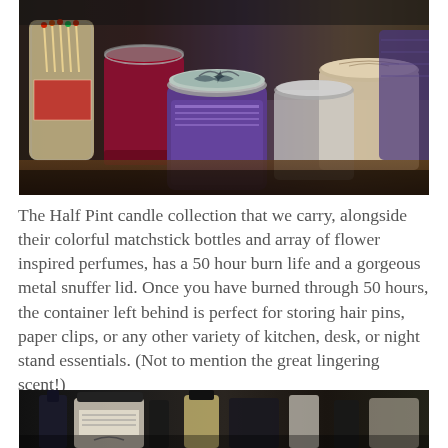[Figure (photo): Shelf display of Half Pint candles in various containers including glass jars and tins, with matchstick bottles in background. A central purple candle jar with an octopus-illustrated lid is prominent.]
The Half Pint candle collection that we carry, alongside their colorful matchstick bottles and array of flower inspired perfumes, has a 50 hour burn life and a gorgeous metal snuffer lid. Once you have burned through 50 hours, the container left behind is perfect for storing hair pins, paper clips, or any other variety of kitchen, desk, or night stand essentials. (Not to mention the great lingering scent!)
[Figure (photo): Bottom portion of a photo showing dark glass bottles and containers on a shelf, partially visible.]